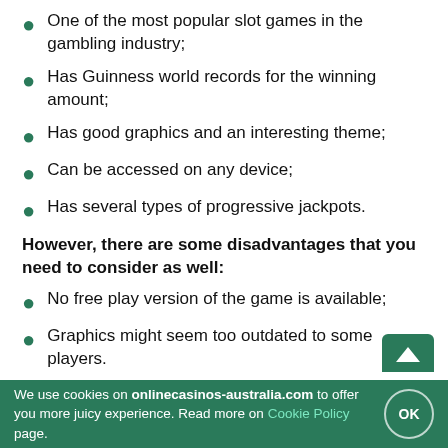One of the most popular slot games in the gambling industry;
Has Guinness world records for the winning amount;
Has good graphics and an interesting theme;
Can be accessed on any device;
Has several types of progressive jackpots.
However, there are some disadvantages that you need to consider as well:
No free play version of the game is available;
Graphics might seem too outdated to some players.
As you can see, the Mega Moolah slot has a lot to offer. From a big variety of symbols to world records in jackpots, these pokies have succeeded in almost everything. You can try your luck now, and, who knows, maybe you will become a millionaire by tomorrow.
Frequently Asked Questions – FAQ
We use cookies on onlinecasinos-australia.com to offer you more juicy experience. Read more on Cookie Policy page.